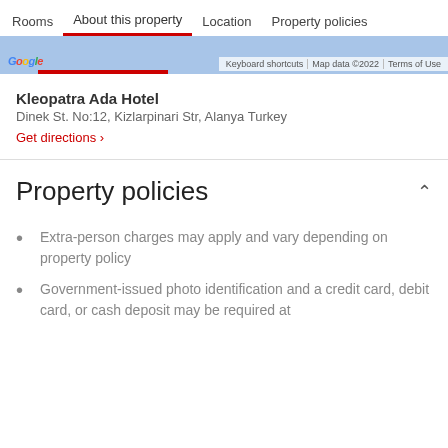Rooms   About this property   Location   Property policies
[Figure (screenshot): Google Maps strip with map credits: Keyboard shortcuts, Map data ©2022, Terms of Use]
Kleopatra Ada Hotel
Dinek St. No:12, Kizlarpinari Str, Alanya Turkey
Get directions ›
Property policies
Extra-person charges may apply and vary depending on property policy
Government-issued photo identification and a credit card, debit card, or cash deposit may be required at